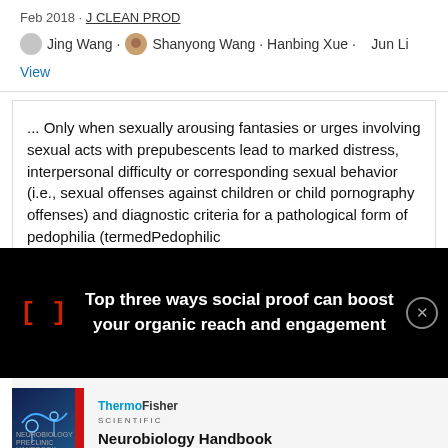Feb 2018 · J CLEAN PROD
Jing Wang · Shanyong Wang · Hanbing Xue · Jun Li
View
... Only when sexually arousing fantasies or urges involving sexual acts with prepubescents lead to marked distress, interpersonal difficulty or corresponding sexual behavior (i.e., sexual offenses against children or child pornography offenses) and diagnostic criteria for a pathological form of pedophilia (termedPedophilic
[Figure (screenshot): Black overlay advertisement banner with red bracket symbol and text 'Top three ways social proof can boost your organic reach and engagement' with close button]
[Figure (photo): Neurobiology Handbook book cover advertisement by ThermoFisher Scientific, showing blue book with neural imagery]
Neurobiology Handbook